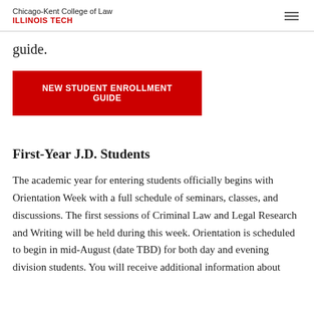Chicago-Kent College of Law | ILLINOIS TECH
guide.
NEW STUDENT ENROLLMENT GUIDE
First-Year J.D. Students
The academic year for entering students officially begins with Orientation Week with a full schedule of seminars, classes, and discussions. The first sessions of Criminal Law and Legal Research and Writing will be held during this week. Orientation is scheduled to begin in mid-August (date TBD) for both day and evening division students. You will receive additional information about